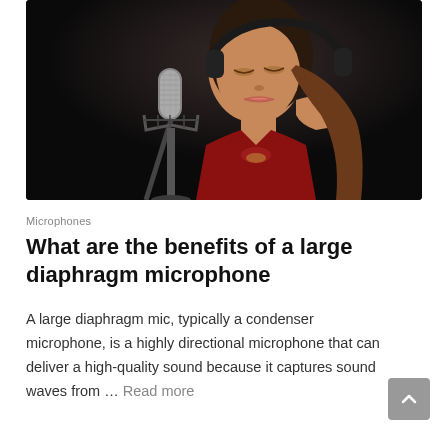[Figure (photo): Woman with headphones singing into a studio condenser microphone against a dark background]
Microphones
What are the benefits of a large diaphragm microphone
A large diaphragm mic, typically a condenser microphone, is a highly directional microphone that can deliver a high-quality sound because it captures sound waves from … Read more